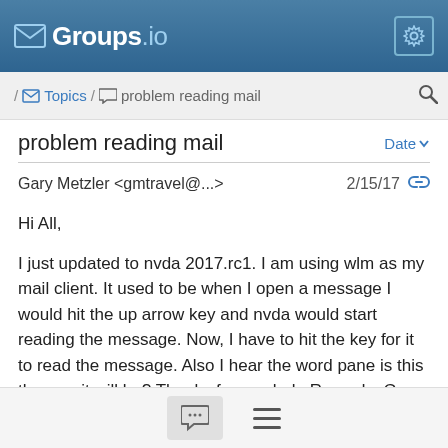[Figure (screenshot): Groups.io website header logo with envelope icon, 'Groups.io' text in white, and a gear settings icon on the right.]
/ Topics / problem reading mail
problem reading mail
Gary Metzler <gmtravel@...>  2/15/17
Hi All,

I just updated to nvda 2017.rc1.  I am using wlm as my mail client.  It used to be when I open a message I would hit the up arrow key and nvda would start reading the message.  Now, I have to hit the key for it to read the message.  Also I hear the word pane is this the way it will be?  Thanks for any help Regards,  Gary kn4ox